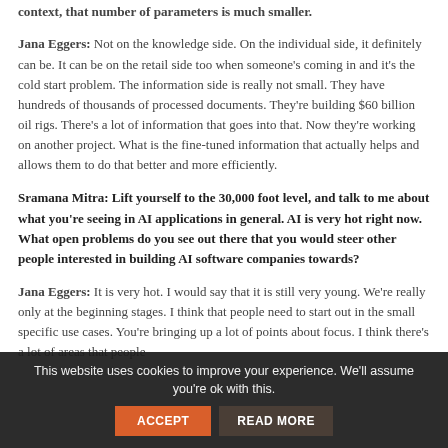context, that number of parameters is much smaller.
Jana Eggers: Not on the knowledge side. On the individual side, it definitely can be. It can be on the retail side too when someone's coming in and it's the cold start problem. The information side is really not small. They have hundreds of thousands of processed documents. They're building $60 billion oil rigs. There's a lot of information that goes into that. Now they're working on another project. What is the fine-tuned information that actually helps and allows them to do that better and more efficiently.
Sramana Mitra: Lift yourself to the 30,000 foot level, and talk to me about what you're seeing in AI applications in general. AI is very hot right now. What open problems do you see out there that you would steer other people interested in building AI software companies towards?
Jana Eggers: It is very hot. I would say that it is still very young. We're really only at the beginning stages. I think that people need to start out in the small specific use cases. You're bringing up a lot of points about focus. I think there's a lot of areas that people need to...
This website uses cookies to improve your experience. We'll assume you're ok with this.